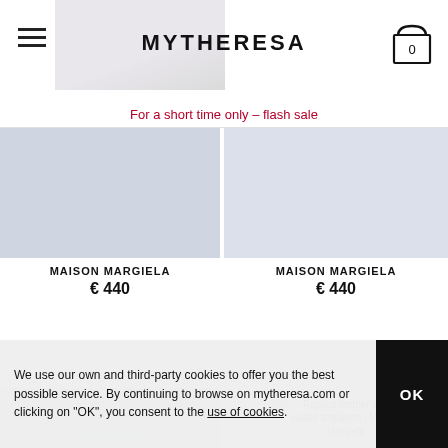MYTHERESA
For a short time only – flash sale
[Figure (photo): Product image placeholder left - light blue-grey rectangle]
MAISON MARGIELA
€ 440
[Figure (photo): Product image placeholder right - light blue-grey rectangle]
MAISON MARGIELA
€ 440
[Figure (photo): Second row left product image - light blue-grey rectangle with shoe sketch]
[Figure (photo): Broken image icon with text: Replica leather and suede sneakers | Maison Margiela]
We use our own and third-party cookies to offer you the best possible service. By continuing to browse on mytheresa.com or clicking on "OK", you consent to the use of cookies.